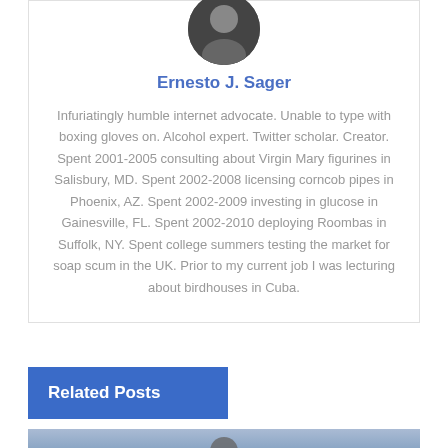[Figure (photo): Circular avatar photo of Ernesto J. Sager, person in dark clothing]
Ernesto J. Sager
Infuriatingly humble internet advocate. Unable to type with boxing gloves on. Alcohol expert. Twitter scholar. Creator. Spent 2001-2005 consulting about Virgin Mary figurines in Salisbury, MD. Spent 2002-2008 licensing corncob pipes in Phoenix, AZ. Spent 2002-2009 investing in glucose in Gainesville, FL. Spent 2002-2010 deploying Roombas in Suffolk, NY. Spent college summers testing the market for soap scum in the UK. Prior to my current job I was lecturing about birdhouses in Cuba.
Related Posts
[Figure (photo): Partial photo of a person, bottom strip of the page]